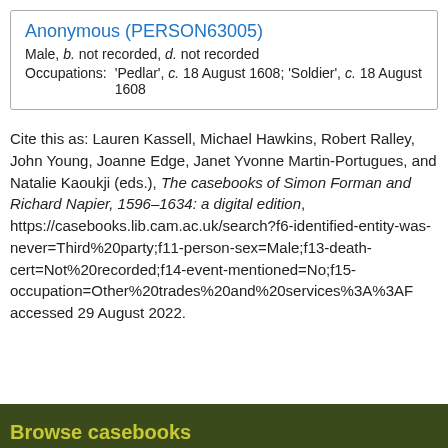| Anonymous (PERSON63005) |
| Male, b. not recorded, d. not recorded |
| Occupations: | 'Pedlar', c. 18 August 1608; 'Soldier', c. 18 August 1608 |
Cite this as: Lauren Kassell, Michael Hawkins, Robert Ralley, John Young, Joanne Edge, Janet Yvonne Martin-Portugues, and Natalie Kaoukji (eds.), The casebooks of Simon Forman and Richard Napier, 1596–1634: a digital edition, https://casebooks.lib.cam.ac.uk/search?f6-identified-entity-was-never=Third%20party;f11-person-sex=Male;f13-death-cert=Not%20recorded;f14-event-mentioned=No;f15-occupation=Other%20trades%20and%20services%3A%3AF accessed 29 August 2022.
Browse casebooks